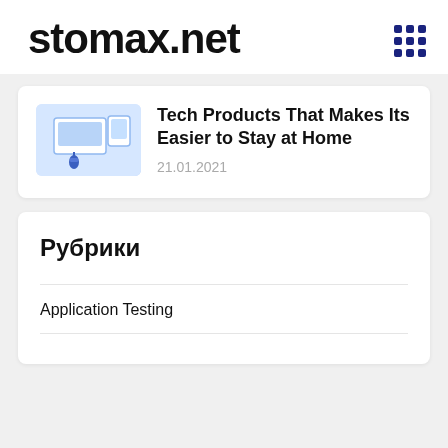stomax.net
Tech Products That Makes Its Easier to Stay at Home
21.01.2021
Рубрики
Application Testing